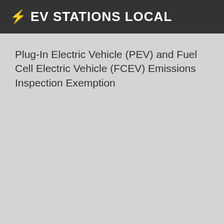⚡ EV STATIONS LOCAL
Plug-In Electric Vehicle (PEV) and Fuel Cell Electric Vehicle (FCEV) Emissions Inspection Exemption